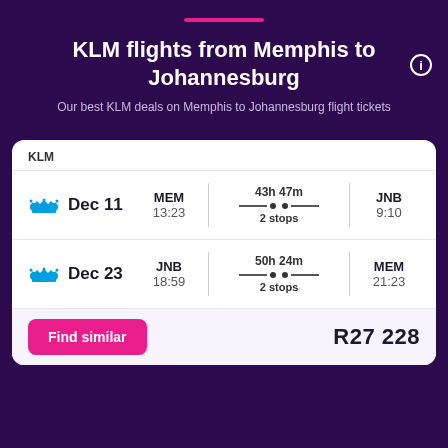KLM flights from Memphis to Johannesburg
Our best KLM deals on Memphis to Johannesburg flight tickets
| Airline/Date | Departure | Duration/Stops | Arrival |
| --- | --- | --- | --- |
| Dec 11 | MEM 13:23 | 43h 47m 2 stops | JNB 9:10 |
| Dec 23 | JNB 18:59 | 50h 24m 2 stops | MEM 21:23 |
Find similar
R27 228